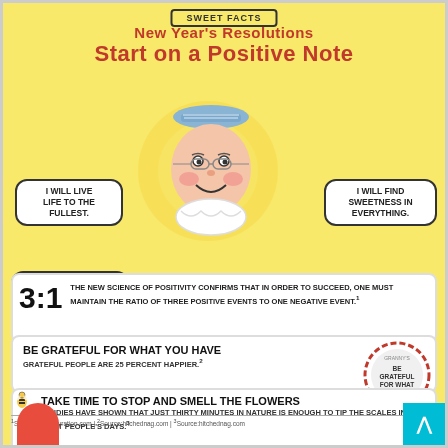SWEET FACTS
NEW YEAR'S RESOLUTIONS START ON A POSITIVE NOTE
[Figure (illustration): Cartoon illustration of a smiling grandmother face with blue hat and glasses, surrounded by four speech bubbles. Top-left bubble: 'I WILL LIVE LIFE TO THE FULLEST.' Top-right bubble: 'I WILL FIND SWEETNESS IN EVERYTHING.' Bottom-left bubble: 'I WILL PUT MY BEST FOOT FORWARD.' Bottom-right bubble: 'I WILL BE HAPPY.' Honeycomb pattern in background.]
3:1 THE NEW SCIENCE OF POSITIVITY CONFIRMS THAT IN ORDER TO SUCCEED, ONE MUST MAINTAIN THE RATIO OF THREE POSITIVE EVENTS TO ONE NEGATIVE EVENT.¹
BE GRATEFUL FOR WHAT YOU HAVE GRATEFUL PEOPLE ARE 25 PERCENT HAPPIER.²
TAKE TIME TO STOP AND SMELL THE FLOWERS STUDIES HAVE SHOWN THAT JUST THIRTY MINUTES IN NATURE IS ENOUGH TO TIP THE SCALES IN MOST PEOPLE'S DAYS.³
¹Source:positivityration.com | ²Source:hitchednag.com | ³Source:hitchednag.com